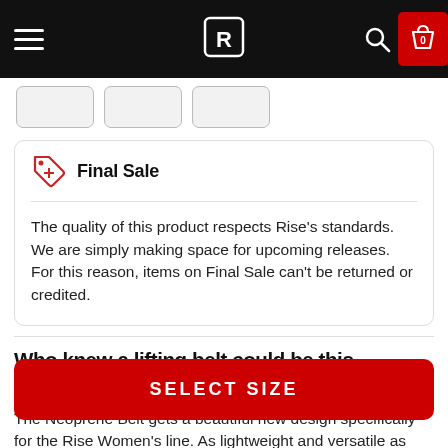Rise fitness store navigation bar with hamburger menu, logo, search icon, and cart (0)
[Figure (screenshot): Three product thumbnail images in a horizontal strip]
Final Sale
The quality of this product respects Rise's standards. We are simply making space for upcoming releases. For this reason, items on Final Sale can't be returned or credited.
Who knew a lifting belt could be this comfortable? We did.
The Neoprene Belt gets a beautiful new design specifically for the Rise Women's line. As lightweight and versatile as ever, keep yourself braced for any and all of your workouts. You'll never want to take it off.
SELECT SIZE